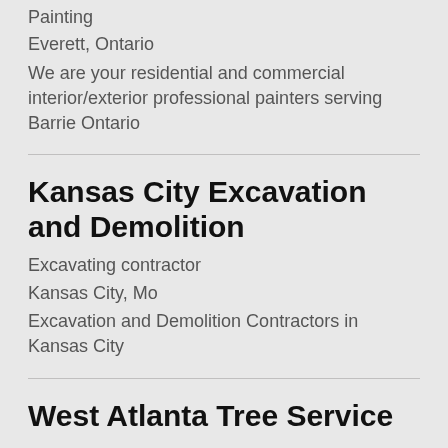Painting
Everett, Ontario
We are your residential and commercial interior/exterior professional painters serving Barrie Ontario
Kansas City Excavation and Demolition
Excavating contractor
Kansas City, Mo
Excavation and Demolition Contractors in Kansas City
West Atlanta Tree Service